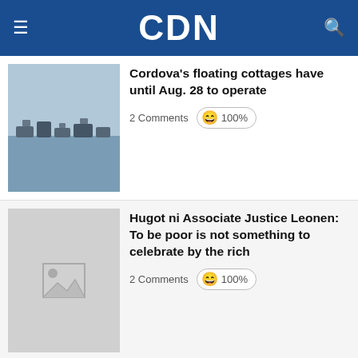CDN
Cordova’s floating cottages have until Aug. 28 to operate
2 Comments  100%
Hugot ni Associate Justice Leonen: To be poor is not something to celebrate by the rich
2 Comments  100%
The media could not be loaded, either because the server or network failed or because the format is not supported.
The numbers behind LeBron James’ $97 million deal
THE NUMBERS BEHIND LEBRON JAMES’ $97 MILLION DEAL